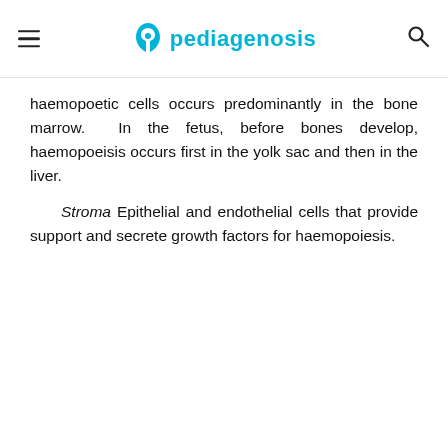pediagenosis
haemopoetic cells occurs predominantly in the bone marrow. In the fetus, before bones develop, haemopoeisis occurs first in the yolk sac and then in the liver.
Stroma Epithelial and endothelial cells that provide support and secrete growth factors for haemopoiesis.